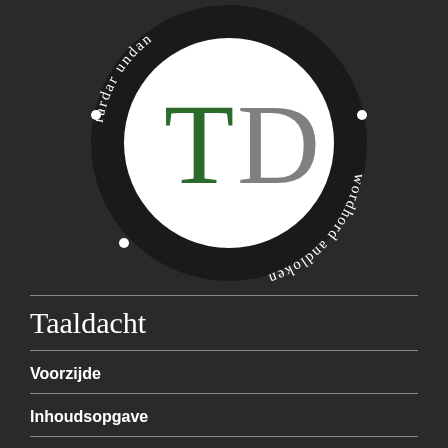[Figure (logo): TD logo: circular emblem with white circle containing large green 'T' and gray 'D' letters, surrounded by dark ring with white curved text reading 'rardar...undan • wordhord andloken' arranged in a circle]
Taaldacht
Voorzijde
Inhoudsopgave
Lijsten
Naslagwerken